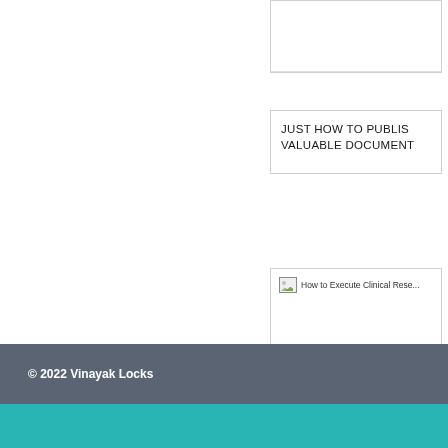[Figure (other): Partially visible card with white image area at top of right column]
JUST HOW TO PUBLISH VALUABLE DOCUMENT
[Figure (photo): Broken image placeholder reading: How to Execute Clinical Rese...]
HOW TO EXECUTE CLINICAL RESEARCH
© 2022 Vinayak Locks